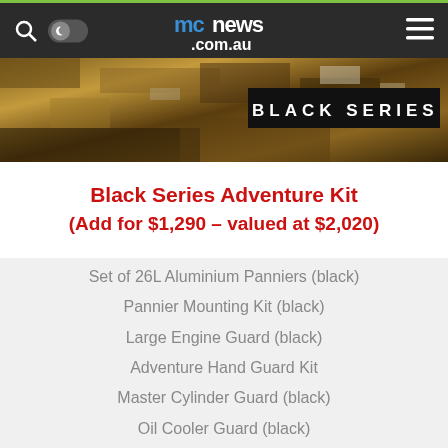mcnews.com.au
[Figure (photo): Rocky/earthy terrain background image with a 'BLACK SERIES' badge overlaid in white text on black background]
Black Series Adventure Kit
(Add for $1,290 – valued at $2,020)
Set of 26L Aluminium Panniers (black)
Pannier Mounting Kit (black)
Large Engine Guard (black)
Adventure Hand Guard Kit
Master Cylinder Guard (black)
Oil Cooler Guard (black)